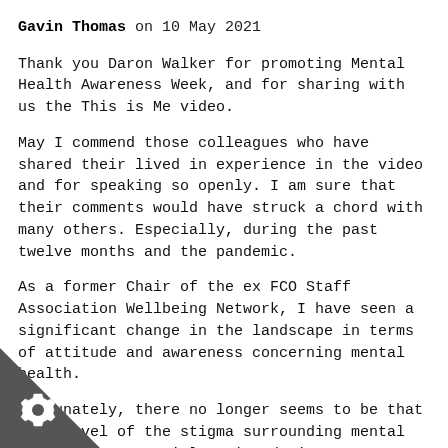Gavin Thomas on 10 May 2021
Thank you Daron Walker for promoting Mental Health Awareness Week, and for sharing with us the This is Me video.
May I commend those colleagues who have shared their lived in experience in the video and for speaking so openly. I am sure that their comments would have struck a chord with many others. Especially, during the past twelve months and the pandemic.
As a former Chair of the ex FCO Staff Association Wellbeing Network, I have seen a significant change in the landscape in terms of attitude and awareness concerning mental health.
Fortunately, there no longer seems to be that same level of the stigma surrounding mental health that certainly existed six years ago. We are certainly seeing an increase in the messaging seeking to encourage everyone to talk about how they are truly feeling and that it is okay, not to be okay.
you, I hope that Mental Health Awareness Week, and the Me campaign will inspire colleagues to take the